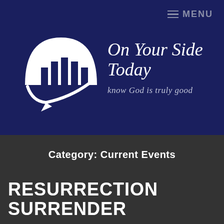≡ MENU
[Figure (logo): White arch/dome logo with vertical columns and a downward arrow beneath, representing On Your Side Today brand logo]
On Your Side Today
know God is truly good
Category: Current Events
RESURRECTION SURRENDER